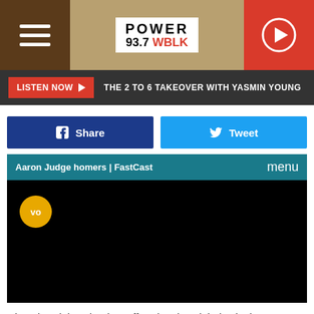[Figure (screenshot): Power 93.7 WBLK radio station website header with hamburger menu on left, logo in center, and red play button on right]
LISTEN NOW ▶  THE 2 TO 6 TAKEOVER WITH YASMIN YOUNG
[Figure (screenshot): Facebook Share and Twitter Tweet social sharing buttons]
[Figure (screenshot): Aaron Judge homers FastCast video player embedded, black screen with volume button visible]
Fine also claims  that he suffered serious injuries in the